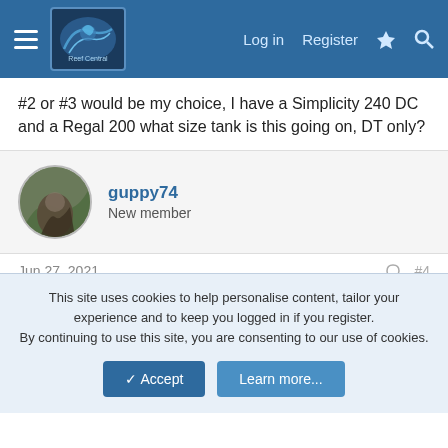Reef Central — Log in | Register
#2 or #3 would be my choice, I have a Simplicity 240 DC and a Regal 200 what size tank is this going on, DT only?
guppy74
New member
Jun 27, 2021  #4
moondoggy4 said: #2 or #3 would be my choice, I have a Simplicity 240 DC and a Regal 200 what size tank is this going on, DT only?
This site uses cookies to help personalise content, tailor your experience and to keep you logged in if you register.
By continuing to use this site, you are consenting to our use of cookies.
[Accept] [Learn more...]